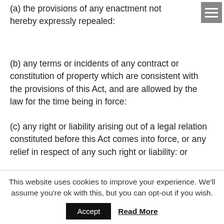(a) the provisions of any enactment not hereby expressly repealed:
(b) any terms or incidents of any contract or constitution of property which are consistent with the provisions of this Act, and are allowed by the law for the time being in force:
(c) any right or liability arising out of a legal relation constituted before this Act comes into force, or any relief in respect of any such right or liability: or
This website uses cookies to improve your experience. We'll assume you're ok with this, but you can opt-out if you wish.